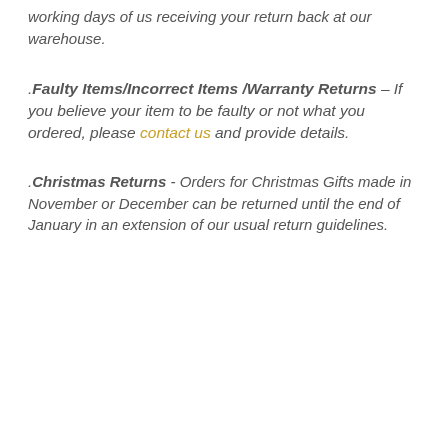working days of us receiving your return back at our warehouse.
.Faulty Items/Incorrect Items /Warranty Returns – If you believe your item to be faulty or not what you ordered, please contact us and provide details.
.Christmas Returns - Orders for Christmas Gifts made in November or December can be returned until the end of January in an extension of our usual return guidelines.